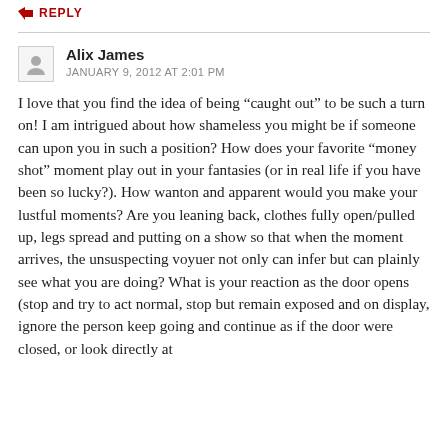REPLY
Alix James
JANUARY 9, 2012 AT 2:01 PM
I love that you find the idea of being “caught out” to be such a turn on! I am intrigued about how shameless you might be if someone can upon you in such a position? How does your favorite “money shot” moment play out in your fantasies (or in real life if you have been so lucky?). How wanton and apparent would you make your lustful moments? Are you leaning back, clothes fully open/pulled up, legs spread and putting on a show so that when the moment arrives, the unsuspecting voyuer not only can infer but can plainly see what you are doing? What is your reaction as the door opens (stop and try to act normal, stop but remain exposed and on display, ignore the person keep going and continue as if the door were closed, or look directly at